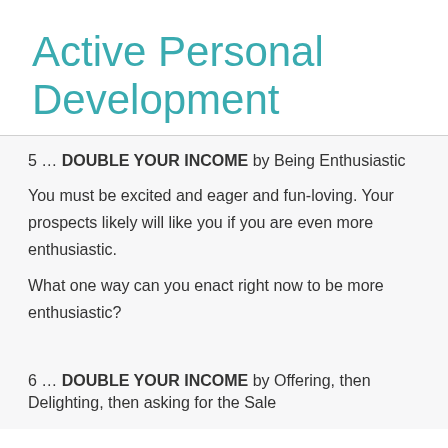Active Personal Development
5 … DOUBLE YOUR INCOME by Being Enthusiastic
You must be excited and eager and fun-loving. Your prospects likely will like you if you are even more enthusiastic.
What one way can you enact right now to be more enthusiastic?
6 … DOUBLE YOUR INCOME by Offering, then Delighting, then asking for the Sale